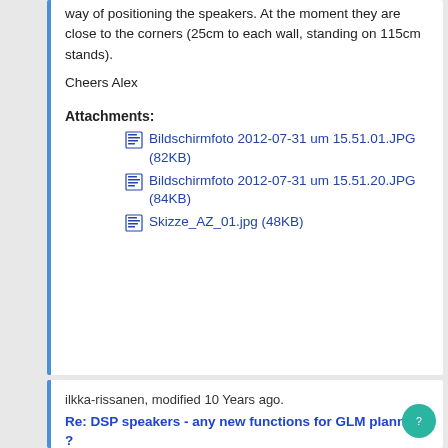way of positioning the speakers. At the moment they are close to the corners (25cm to each wall, standing on 115cm stands).
Cheers Alex
Attachments:
Bildschirmfoto 2012-07-31 um 15.51.01.JPG (82KB)
Bildschirmfoto 2012-07-31 um 15.51.20.JPG (84KB)
Skizze_AZ_01.jpg (48KB)
ilkka-rissanen, modified 10 Years ago.
Re: DSP speakers - any new functions for GLM planned ?